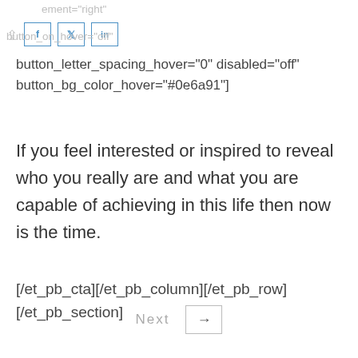button_icon_placement="right"
[Figure (other): Share icon followed by three social media buttons: f (Facebook), bird/Twitter, in (LinkedIn), each in blue outlined square boxes]
button_on_hover="off"
button_letter_spacing_hover="0" disabled="off" button_bg_color_hover="#0e6a91"]
If you feel interested or inspired to reveal who you really are and what you are capable of achieving in this life then now is the time.
[/et_pb_cta][/et_pb_column][/et_pb_row] [/et_pb_section]
Next →